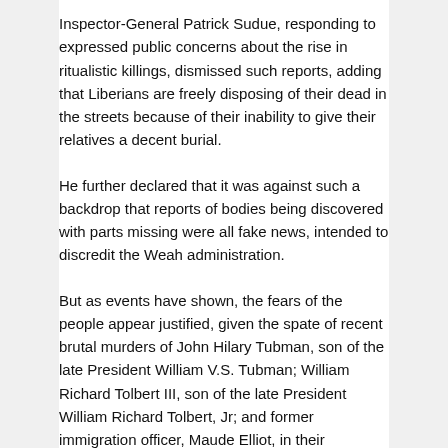Inspector-General Patrick Sudue, responding to expressed public concerns about the rise in ritualistic killings, dismissed such reports, adding that Liberians are freely disposing of their dead in the streets because of their inability to give their relatives a decent burial.
He further declared that it was against such a backdrop that reports of bodies being discovered with parts missing were all fake news, intended to discredit the Weah administration.
But as events have shown, the fears of the people appear justified, given the spate of recent brutal murders of John Hilary Tubman, son of the late President William V.S. Tubman; William Richard Tolbert III, son of the late President William Richard Tolbert, Jr; and former immigration officer, Maude Elliot, in their respective homes.
Those tragic events, all unfolding within a very short period, have again raised public concerns about what they